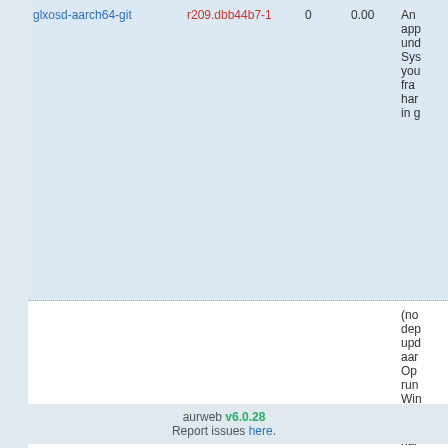| Name | Version | Votes | Popularity | Description |
| --- | --- | --- | --- | --- |
| glxosd-aarch64-git | r209.dbb44b7-1 | 0 | 0.00 | An app... (partial) |
| bim-git | r821.cd56264-1 | 0 | 0.00 | Ins... (partial) |
22 packages found. Page 1 of 1.
aurweb v6.0.28 Report issues here.